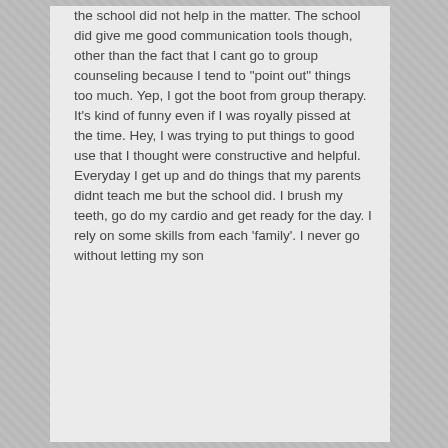the school did not help in the matter. The school did give me good communication tools though, other than the fact that I cant go to group counseling because I tend to "point out" things too much. Yep, I got the boot from group therapy. It's kind of funny even if I was royally pissed at the time. Hey, I was trying to put things to good use that I thought were constructive and helpful.
Everyday I get up and do things that my parents didnt teach me but the school did. I brush my teeth, go do my cardio and get ready for the day. I rely on some skills from each 'family'. I never go without letting my son